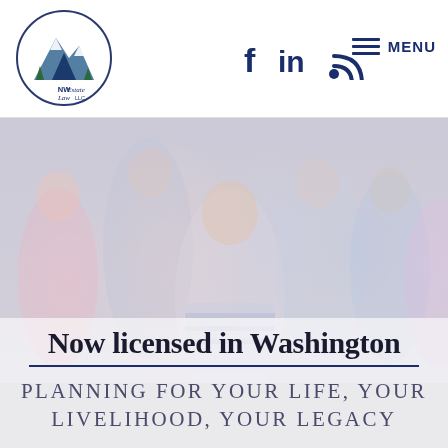[Figure (logo): NW Estate Law LLC circular logo with mountain/tree illustration]
[Figure (infographic): Social media icons: Facebook (f), LinkedIn (in), RSS feed symbol in dark navy blue]
[Figure (infographic): Hamburger menu icon with MENU text in dark navy blue]
[Figure (photo): Blurred faded family photo showing smiling boy in striped shirt in foreground, family members including elderly couple in background, light pastel tones]
Now licensed in Washington
PLANNING FOR YOUR LIFE, YOUR LIVELIHOOD, YOUR LEGACY